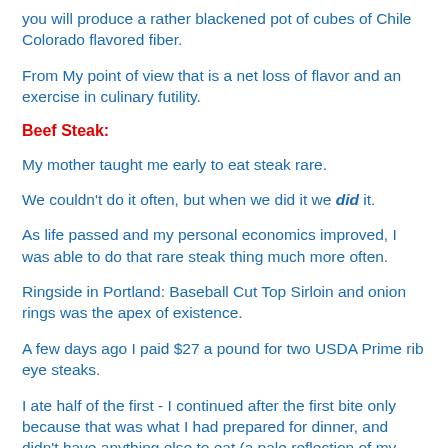you will produce a rather blackened pot of cubes of Chile Colorado flavored fiber.
From My point of view that is a net loss of flavor and an exercise in culinary futility.
Beef Steak:
My mother taught me early to eat steak rare.
We couldn't do it often, but when we did it we did it.
As life passed and my personal economics improved, I was able to do that rare steak thing much more often.
Ringside in Portland: Baseball Cut Top Sirloin and onion rings was the apex of existence.
A few days ago I paid $27 a pound for two USDA Prime rib eye steaks.
I ate half of the first - I continued after the first bite only because that was what I had prepared for dinner, and didn't have anything else to eat (a pale reflection of my previously